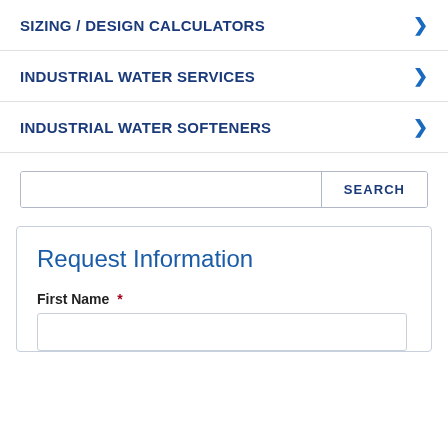SIZING / DESIGN CALCULATORS
INDUSTRIAL WATER SERVICES
INDUSTRIAL WATER SOFTENERS
SEARCH (search input field)
Request Information
First Name *